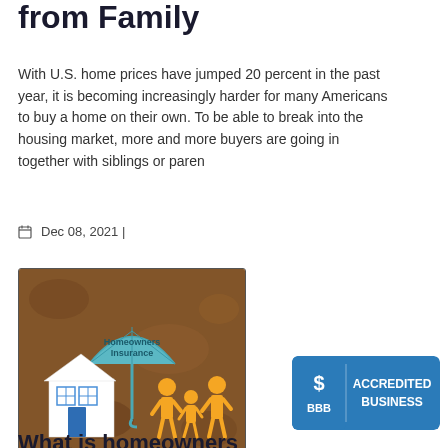from Family
With U.S. home prices have jumped 20 percent in the past year, it is becoming increasingly harder for many Americans to buy a home on their own. To be able to break into the housing market, more and more buyers are going in together with siblings or paren
Dec 08, 2021 |
[Figure (photo): Photo of a homeowners insurance conceptual image: a teal umbrella labeled 'Homeowners Insurance' covering a white paper-cutout house with blue windows and door, and yellow paper-cutout family figures, on a brown textured background.]
[Figure (logo): BBB Accredited Business badge with blue background, white BBB logo on left, and 'ACCREDITED BUSINESS' text on right in white bold letters.]
What is homeowners